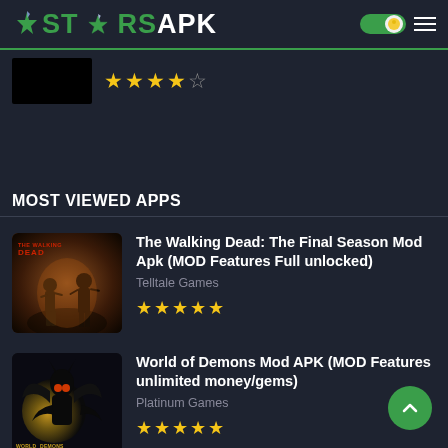STARSAPK
[Figure (screenshot): Partial app thumbnail (black rectangle) with 4.5 star rating]
MOST VIEWED APPS
[Figure (illustration): The Walking Dead: The Final Season game icon — dark horror illustration]
The Walking Dead: The Final Season Mod Apk (MOD Features Full unlocked)
Telltale Games
★★★★★
[Figure (illustration): World of Demons game icon — creature silhouette against golden moon]
World of Demons Mod APK (MOD Features unlimited money/gems)
Platinum Games
★★★★★